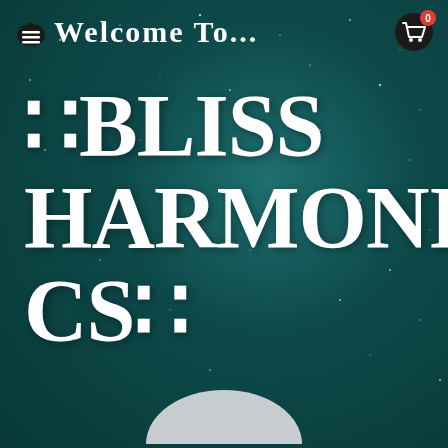Welcome To...
::BLISS HARMONICS::
[Figure (illustration): Partial grey moon shape visible at bottom center of the page]